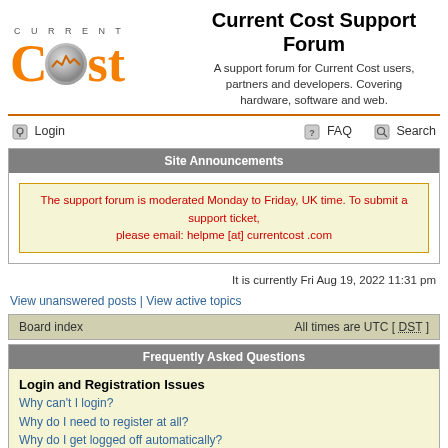[Figure (logo): Current Cost logo with orange lettering and grey circle icon]
Current Cost Support Forum
A support forum for Current Cost users, partners and developers. Covering hardware, software and web.
Login   FAQ   Search
Site Announcements
The support forum is moderated Monday to Friday, UK time. To submit a support ticket, please email: helpme [at] currentcost .com
It is currently Fri Aug 19, 2022 11:31 pm
View unanswered posts | View active topics
Board index   All times are UTC [ DST ]
Frequently Asked Questions
Login and Registration Issues
Why can't I login?
Why do I need to register at all?
Why do I get logged off automatically?
How do I prevent my username appearing in the online user listings?
I've lost my password!
I registered but cannot login!
I registered in the past but cannot login any more?